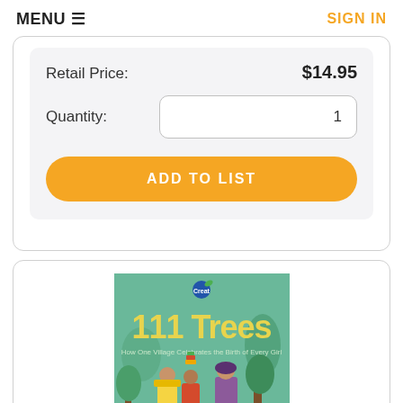MENU ≡   SIGN IN
Retail Price:   $14.95
Quantity:   1
ADD TO LIST
[Figure (illustration): Book cover for '111 Trees: How One Village Celebrates the Birth of Every Girl' with green background, yellow title text, and illustrated figures of people in traditional clothing with trees]